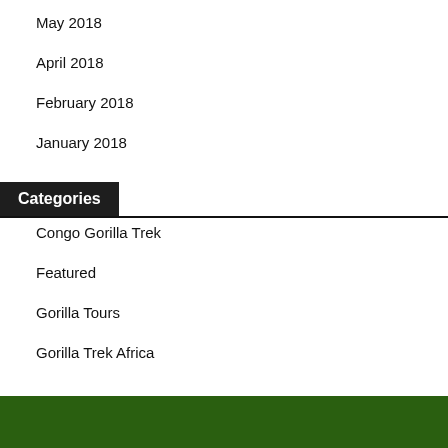May 2018
April 2018
February 2018
January 2018
Categories
Congo Gorilla Trek
Featured
Gorilla Tours
Gorilla Trek Africa